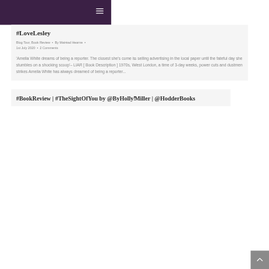#LoveLesley
Blog Tour, Book Review · By Mairéad Hearne · 1st July 2020 · 2 Comments
'Amelia White dreams of being a reporter. The closest she's come is selling advertising in the local paper until the fateful day she stumbles on a shocking scoop'– LIAR [ Book Description ] 1970s, West London, a time of 3-day weeks, power cuts and dustmen strikes Amelia White has always dreamed of being a reporter...
#BookReview | #TheSightOfYou by @ByHollyMiller | @HodderBooks